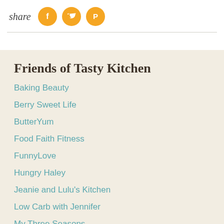[Figure (infographic): Share section with 'share' text in italic and three orange circular social media icons: Facebook, Twitter, Pinterest]
Friends of Tasty Kitchen
Baking Beauty
Berry Sweet Life
ButterYum
Food Faith Fitness
FunnyLove
Hungry Haley
Jeanie and Lulu's Kitchen
Low Carb with Jennifer
My Three Seasons
Pumpkin 'n Spice
Simple Comfort Food
Small Town Woman